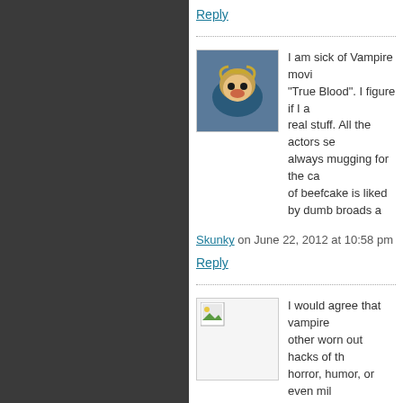Reply
I am sick of Vampire movi... "True Blood". I figure if I a... real stuff. All the actors se... always mugging for the ca... of beefcake is liked by dumb broads a...
Skunky on June 22, 2012 at 10:58 pm
Reply
I would agree that vampire... other worn out hacks of th... horror, humor, or even mil... recycled fare that packs a...
As for Lola versus Sex, it is just summ...
How is Lola versus Sex much differen...
y7N5c